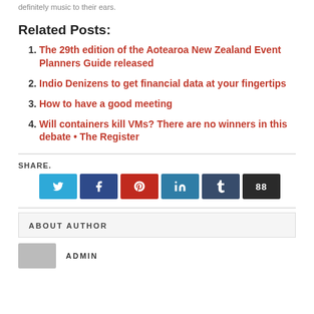definitely music to their ears.
Related Posts:
The 29th edition of the Aotearoa New Zealand Event Planners Guide released
Indio Denizens to get financial data at your fingertips
How to have a good meeting
Will containers kill VMs? There are no winners in this debate • The Register
SHARE.
[Figure (other): Social media share buttons: Twitter (blue), Facebook (dark blue), Pinterest (red), LinkedIn (teal), Tumblr (dark slate), and a More button (dark/black) with icon symbols]
ABOUT AUTHOR
ADMIN